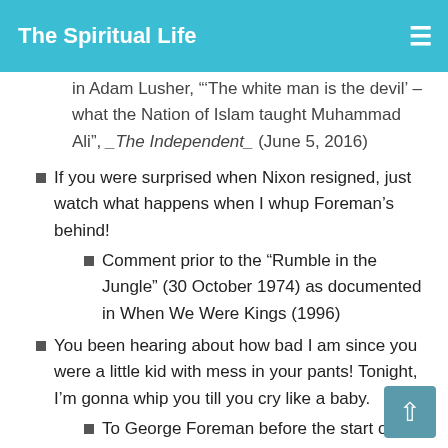The Spiritual Life
in Adam Lusher, '“The white man is the devil’ – what the Nation of Islam taught Muhammad Ali”, _The Independent_ (June 5, 2016)
If you were surprised when Nixon resigned, just watch what happens when I whup Foreman’s behind!
Comment prior to the “Rumble in the Jungle” (30 October 1974) as documented in When We Were Kings (1996)
You been hearing about how bad I am since you were a little kid with mess in your pants! Tonight, I’m gonna whip you till you cry like a baby.
To George Foreman before the start of the “Rumble in the Jungle” as the referee is giving